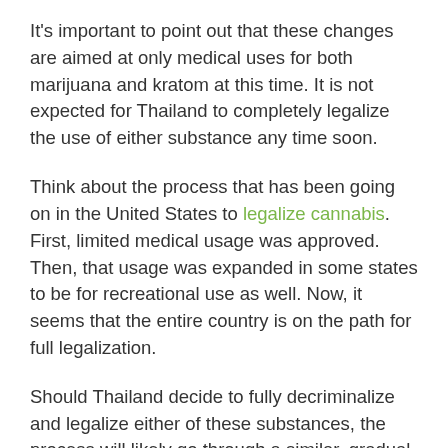It's important to point out that these changes are aimed at only medical uses for both marijuana and kratom at this time. It is not expected for Thailand to completely legalize the use of either substance any time soon.
Think about the process that has been going on in the United States to legalize cannabis. First, limited medical usage was approved. Then, that usage was expanded in some states to be for recreational use as well. Now, it seems that the entire country is on the path for full legalization.
Should Thailand decide to fully decriminalize and legalize either of these substances, the process will likely go through a similar, gradual transition.
Thailand's government has not yet set up the process for medical usage of either substance. However, some hospitals are already able to provide them for patient